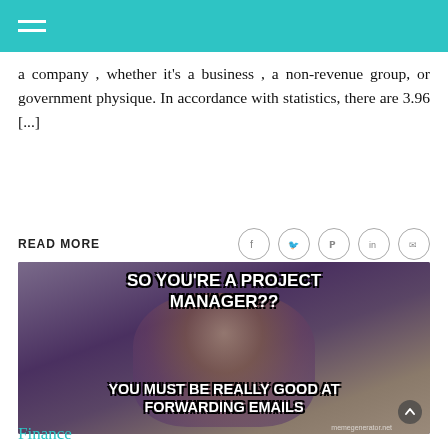a company , whether it's a business , a non-revenue group, or government physique. In accordance with statistics, there are 3.96 [...]
READ MORE
[Figure (photo): Willy Wonka meme image with text: SO YOU'RE A PROJECT MANAGER?? YOU MUST BE REALLY GOOD AT FORWARDING EMAILS. memegenerator.net watermark.]
Finance